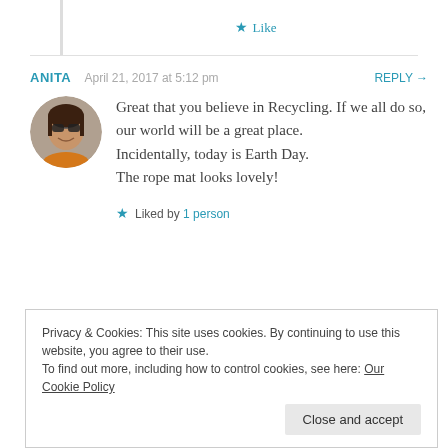Like
ANITA   April 21, 2017 at 5:12 pm   REPLY →
Great that you believe in Recycling. If we all do so, our world will be a great place. Incidentally, today is Earth Day. The rope mat looks lovely!
Liked by 1 person
Privacy & Cookies: This site uses cookies. By continuing to use this website, you agree to their use. To find out more, including how to control cookies, see here: Our Cookie Policy
Close and accept
Day: